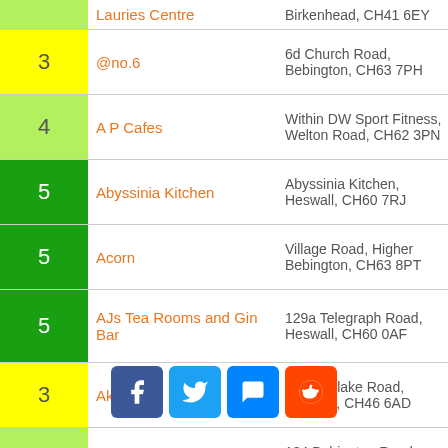| Rating | Name | Address |
| --- | --- | --- |
| — | Lauries Centre | Birkenhead, CH41 6EY |
| 3 | @no.6 | 6d Church Road, Bebington, CH63 7PH |
| 4 | A P Cafes | Within DW Sport Fitness, Welton Road, CH62 3PN |
| 5 | Abyssinia Kitchen | Abyssinia Kitchen, Heswall, CH60 7RJ |
| 5 | Acorn | Village Road, Higher Bebington, CH63 8PT |
| 5 | AJs Tea Rooms and Gin Bar | 129a Telegraph Road, Heswall, CH60 0AF |
| 3 | Akbor's | 226 Hoylake Road, Moreton, CH46 6AD |
| 4 | Alam Balti House | 184 Bebington Road, Bebington, CH63 7NX |
| 3 | Albany Bowling Club | Southdale Road, Rock... |